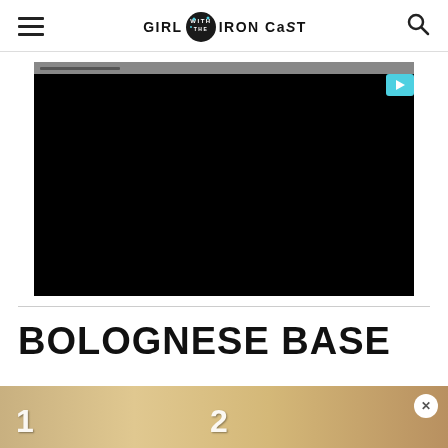GIRL WITH THE IRON CAST
[Figure (screenshot): Embedded video player showing a black screen with a teal play button in the top right corner and a gray toolbar at top]
BOLOGNESE BASE
[Figure (photo): Bottom advertisement strip showing food images with numbers 1 and 2 overlaid, with a close (X) button on the right]